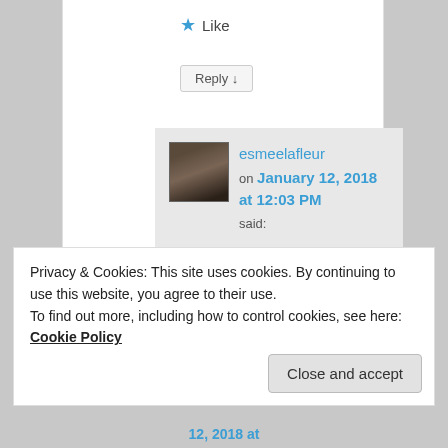★ Like
Reply ↓
esmeelafleur on January 12, 2018 at 12:03 PM said:
I personally eat 1.5 lbs of freshly ground raw fatty beef.
Privacy & Cookies: This site uses cookies. By continuing to use this website, you agree to their use.
To find out more, including how to control cookies, see here: Cookie Policy
Close and accept
12, 2018 at